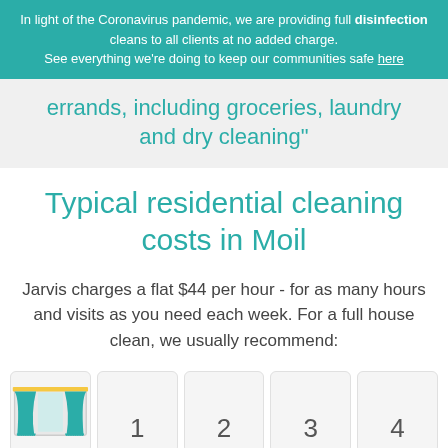In light of the Coronavirus pandemic, we are providing full disinfection cleans to all clients at no added charge. See everything we're doing to keep our communities safe here
errands, including groceries, laundry and dry cleaning"
Typical residential cleaning costs in Moil
Jarvis charges a flat $44 per hour - for as many hours and visits as you need each week. For a full house clean, we usually recommend:
[Figure (illustration): Illustration of curtains/window with teal curtains]
1
2
3
4